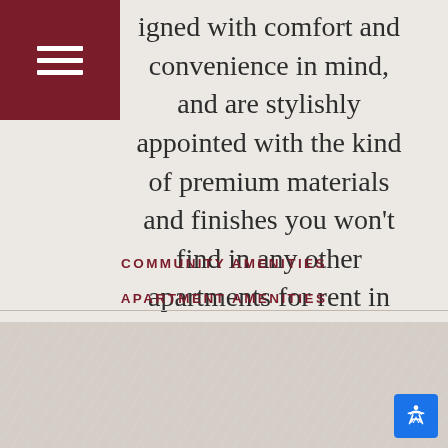signed with comfort and convenience in mind, and are stylishly appointed with the kind of premium materials and finishes you won't find in any other apartments for rent in San Diego.
COMMUNITY AMENITIES
APARTMENT AMENITIES
PET POLICY
PARKING DETAILS